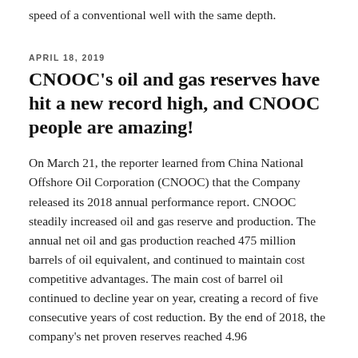speed of a conventional well with the same depth.
APRIL 18, 2019
CNOOC's oil and gas reserves have hit a new record high, and CNOOC people are amazing!
On March 21, the reporter learned from China National Offshore Oil Corporation (CNOOC) that the Company released its 2018 annual performance report. CNOOC steadily increased oil and gas reserve and production. The annual net oil and gas production reached 475 million barrels of oil equivalent, and continued to maintain cost competitive advantages. The main cost of barrel oil continued to decline year on year, creating a record of five consecutive years of cost reduction. By the end of 2018, the company's net proven reserves reached 4.96